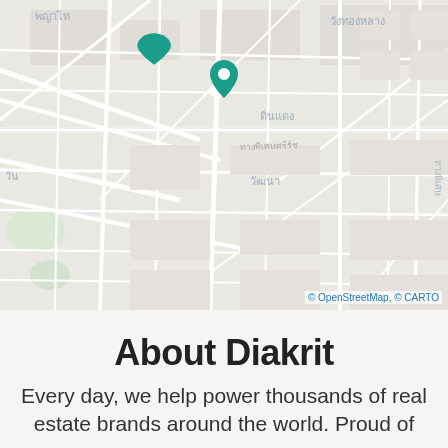[Figure (map): Street map of Bangkok area showing Thai neighborhood labels including พญาไท, วังทองหลาง, ดินแดง, วัฒนา, and surrounding streets. A teal map pin/marker is visible near the center-top of the map.]
© OpenStreetMap, © CARTO
About Diakrit
Every day, we help power thousands of real estate brands around the world. Proud of